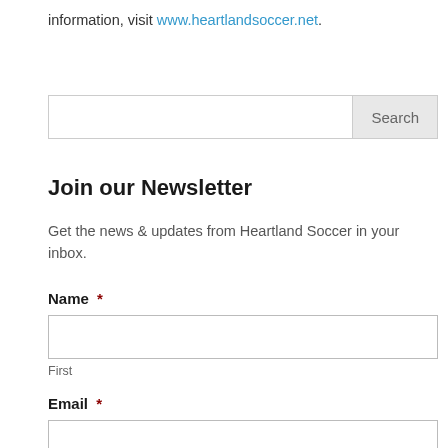information, visit www.heartlandsoccer.net.
[Figure (screenshot): Search input box with a 'Search' button on the right]
Join our Newsletter
Get the news & updates from Heartland Soccer in your inbox.
Name *
[Figure (screenshot): Text input field for First name]
First
Email *
[Figure (screenshot): Text input field for Email]